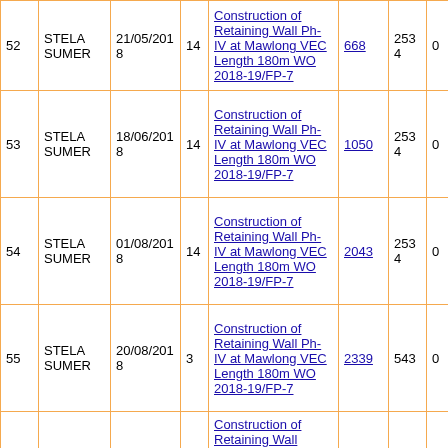| # | Name | Date | Dur | Description | Amount | Value | Zero |
| --- | --- | --- | --- | --- | --- | --- | --- |
| 52 | STELA SUMER | 21/05/2018 | 14 | Construction of Retaining Wall Ph-IV at Mawlong VEC Length 180m WO 2018-19/FP-7 | 668 | 2534 | 0 |
| 53 | STELA SUMER | 18/06/2018 | 14 | Construction of Retaining Wall Ph-IV at Mawlong VEC Length 180m WO 2018-19/FP-7 | 1050 | 2534 | 0 |
| 54 | STELA SUMER | 01/08/2018 | 14 | Construction of Retaining Wall Ph-IV at Mawlong VEC Length 180m WO 2018-19/FP-7 | 2043 | 2534 | 0 |
| 55 | STELA SUMER | 20/08/2018 | 3 | Construction of Retaining Wall Ph-IV at Mawlong VEC Length 180m WO 2018-19/FP-7 | 2339 | 543 | 0 |
| 56 |  |  |  | Construction of Retaining Wall |  |  |  |